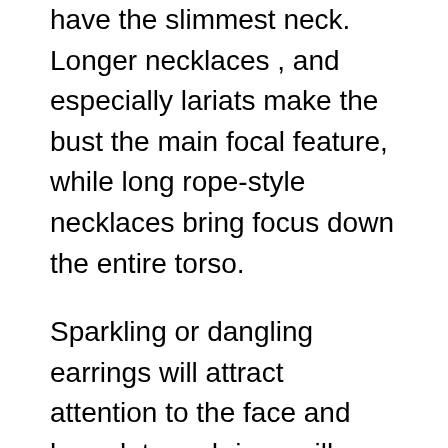have the slimmest neck. Longer necklaces , and especially lariats make the bust the main focal feature, while long rope-style necklaces bring focus down the entire torso.
Sparkling or dangling earrings will attract attention to the face and bracelets and rings will draw attention to your arms and hands. Make sure you are careful when purchasing necklaces and earrings. Instead of selecting shapes that repeat the shape of your face, opt for forms that do not (although not to extremes). If your face is round, try small-sized pendants and earrings and experiment with medium-length Dangle earrings. For angular faces, it is best to flatter them by round jewelry – necklaces and hoop